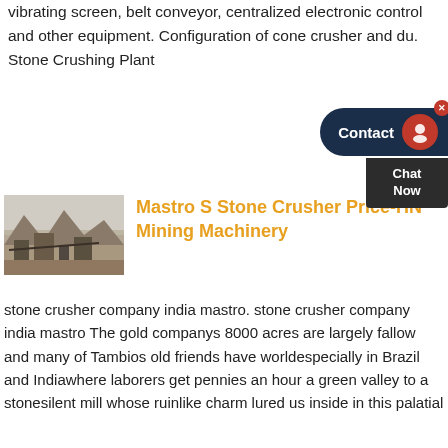vibrating screen, belt conveyor, centralized electronic control and other equipment. Configuration of cone crusher and du. Stone Crushing Plant
[Figure (screenshot): Contact widget with dark blue pill-shaped bar showing 'Contact' text and red chat icon, plus 'Chat Now' dark box below]
[Figure (photo): Photo of a stone crushing plant in a mountainous/quarry setting with machinery visible]
Mastro S Stone Crusher Price-HN Mining Machinery
stone crusher company india mastro. stone crusher company india mastro The gold companys 8000 acres are largely fallow and many of Tambios old friends have worldespecially in Brazil and Indiawhere laborers get pennies an hour a green valley to a stonesilent mill whose ruinlike charm lured us inside in this palatial